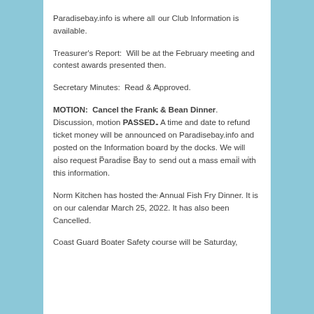Paradisebay.info is where all our Club Information is available.
Treasurer's Report:  Will be at the February meeting and contest awards presented then.
Secretary Minutes:  Read & Approved.
MOTION:  Cancel the Frank & Bean Dinner. Discussion, motion PASSED. A time and date to refund ticket money will be announced on Paradisebay.info and posted on the Information board by the docks. We will also request Paradise Bay to send out a mass email with this information.
Norm Kitchen has hosted the Annual Fish Fry Dinner. It is on our calendar March 25, 2022. It has also been Cancelled.
Coast Guard Boater Safety course will be Saturday,